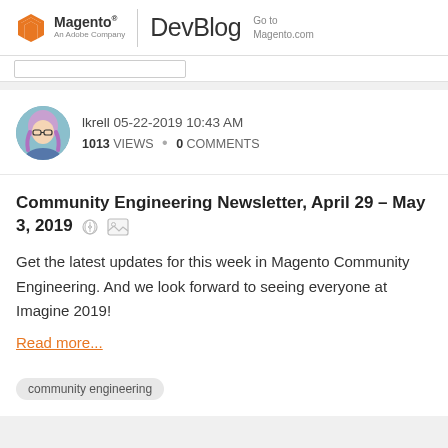Magento An Adobe Company | DevBlog Go to Magento.com
lkrell 05-22-2019 10:43 AM
1013 VIEWS • 0 COMMENTS
Community Engineering Newsletter, April 29 – May 3, 2019
Get the latest updates for this week in Magento Community Engineering. And we look forward to seeing everyone at Imagine 2019!
Read more...
community engineering